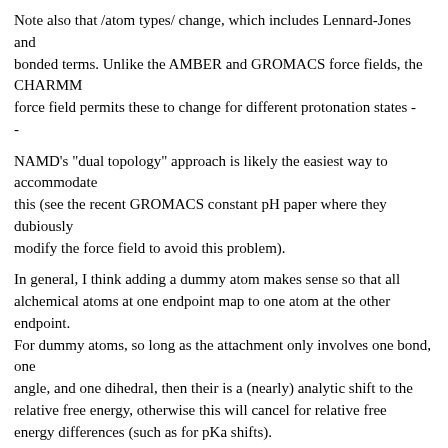Note also that /atom types/ change, which includes Lennard-Jones and
bonded terms. Unlike the AMBER and GROMACS force fields, the CHARMM
force field permits these to change for different protonation states -
-
NAMD's "dual topology" approach is likely the easiest way to accommodate
this (see the recent GROMACS constant pH paper where they dubiously
modify the force field to avoid this problem).
In general, I think adding a dummy atom makes sense so that all alchemical atoms at one endpoint map to one atom at the other endpoint.
For dummy atoms, so long as the attachment only involves one bond, one
angle, and one dihedral, then their is a (nearly) analytic shift to the relative free energy, otherwise this will cancel for relative free energy differences (such as for pKa shifts).
The restraint between atoms in different alchemical groups will make
them nearly coincident, but not rigorously so. You formally introduce